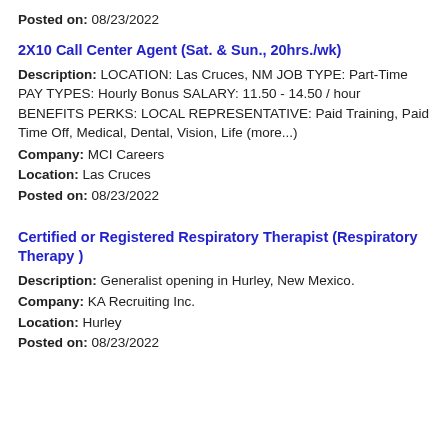Posted on: 08/23/2022
2X10 Call Center Agent (Sat. & Sun., 20hrs./wk)
Description: LOCATION: Las Cruces, NM JOB TYPE: Part-Time PAY TYPES: Hourly Bonus SALARY: 11.50 - 14.50 / hour BENEFITS PERKS: LOCAL REPRESENTATIVE: Paid Training, Paid Time Off, Medical, Dental, Vision, Life (more...)
Company: MCI Careers
Location: Las Cruces
Posted on: 08/23/2022
Certified or Registered Respiratory Therapist (Respiratory Therapy )
Description: Generalist opening in Hurley, New Mexico.
Company: KA Recruiting Inc.
Location: Hurley
Posted on: 08/23/2022